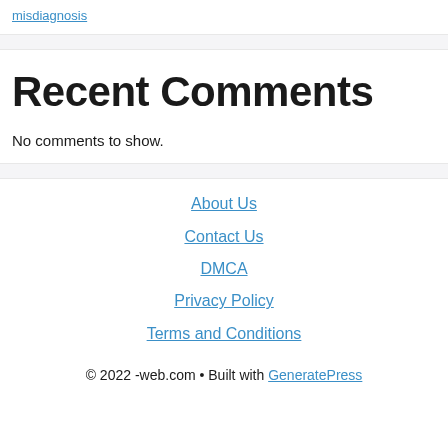misdiagnosis
Recent Comments
No comments to show.
About Us
Contact Us
DMCA
Privacy Policy
Terms and Conditions
© 2022 -web.com • Built with GeneratePress